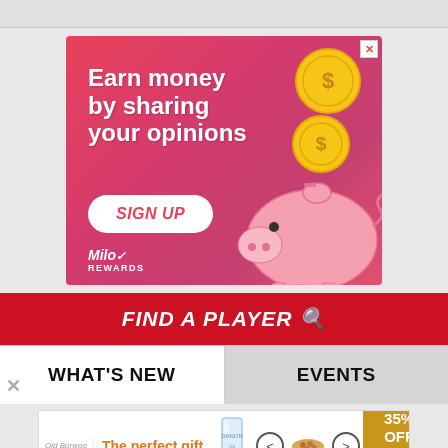[Figure (illustration): Pink survey ad banner with 'Earn money by sharing your opinions' text, gold coins, piggy bank illustration, SIGN UP button, and Milo Rewards logo]
[Figure (illustration): Red banner with 'FIND A PLAYER' text and search icon]
WHAT'S NEW
EVENTS
[Figure (illustration): Bottom ad banner: 'The perfect gift' with glass and food product images, navigation arrows, and '35% OFF + FREE SHIPPING' promo badge]